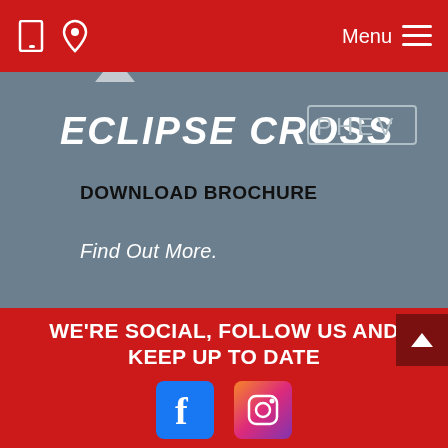Menu
[Figure (logo): Eclipse Cross PHEV logo in white italic text on grey-blue background]
DOWNLOAD BROCHURE
Find Out More.
WE'RE SOCIAL, FOLLOW US AND KEEP UP TO DATE